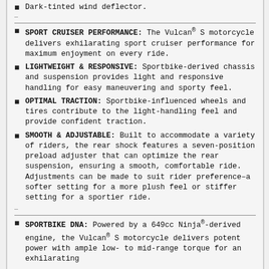Dark-tinted wind deflector.
SPORT CRUISER PERFORMANCE: The Vulcan® S motorcycle delivers exhilarating sport cruiser performance for maximum enjoyment on every ride.
LIGHTWEIGHT & RESPONSIVE: Sportbike-derived chassis and suspension provides light and responsive handling for easy maneuvering and sporty feel.
OPTIMAL TRACTION: Sportbike-influenced wheels and tires contribute to the light-handling feel and provide confident traction.
SMOOTH & ADJUSTABLE: Built to accommodate a variety of riders, the rear shock features a seven-position preload adjuster that can optimize the rear suspension, ensuring a smooth, comfortable ride. Adjustments can be made to suit rider preference–a softer setting for a more plush feel or stiffer setting for a sportier ride.
SPORTBIKE DNA: Powered by a 649cc Ninja®-derived engine, the Vulcan® S motorcycle delivers potent power with ample low- to mid-range torque for an exhilarating